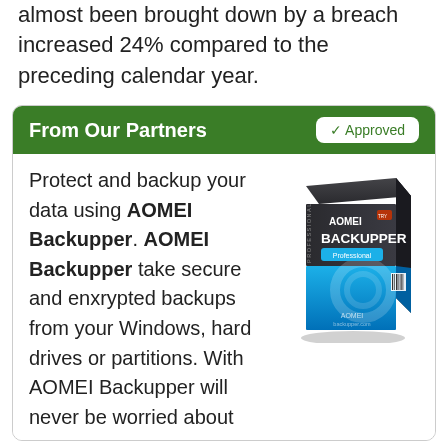almost been brought down by a breach increased 24% compared to the preceding calendar year.
From Our Partners
Protect and backup your data using AOMEI Backupper. AOMEI Backupper take secure and enxrypted backups from your Windows, hard drives or partitions. With AOMEI Backupper will never be worried about
[Figure (illustration): AOMEI Backupper Professional software box — dark top with product name, blue bottom with circular design, barcode on side.]